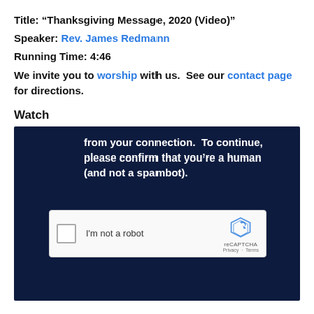Title: “Thanksgiving Message, 2020 (Video)”
Speaker: Rev. James Redmann
Running Time: 4:46
We invite you to worship with us.  See our contact page for directions.
Watch
[Figure (screenshot): A dark navy video embed area showing a reCAPTCHA verification prompt with text 'from your connection. To continue, please confirm that you’re a human (and not a spambot).' and a reCAPTCHA checkbox widget saying 'I’m not a robot'.]